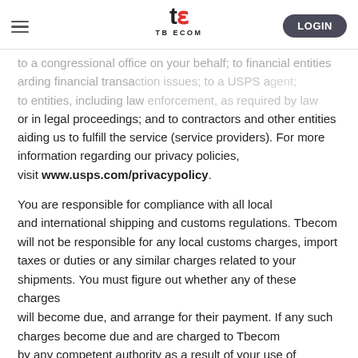TB ECOM — Navigation bar with hamburger menu, logo, and LOGIN button
to a congressional office on your behalf; to financial entities regarding financial transactions issues; to a USPS agent; to entities, including law enforcement, as required by law or in legal proceedings; and to contractors and other entities aiding us to fulfill the service (service providers). For more information regarding our privacy policies, visit www.usps.com/privacypolicy.
You are responsible for compliance with all local and international shipping and customs regulations. Tbecom will not be responsible for any local customs charges, import taxes or duties or any similar charges related to your shipments. You must figure out whether any of these charges will become due, and arrange for their payment. If any such charges become due and are charged to Tbecom by any competent authority as a result of your use of Tbecom shipping labels feature, you agree to reimburse Tbecom fully in respect of the same within 7 days of our demand.